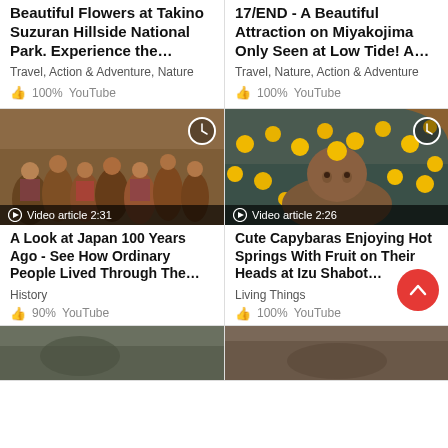Beautiful Flowers at Takino Suzuran Hillside National Park. Experience the…
Travel,  Action & Adventure,  Nature
100%  YouTube
17/END - A Beautiful Attraction on Miyakojima Only Seen at Low Tide! A…
Travel,  Nature,  Action & Adventure
100%  YouTube
[Figure (screenshot): Historical photo of Japanese people in traditional clothing, with video badge 'Video article 2:31' and clock overlay icon]
A Look at Japan 100 Years Ago - See How Ordinary People Lived Through The…
History
90%  YouTube
[Figure (screenshot): Photo of a capybara in hot spring with oranges/yuzu floating around, with video badge 'Video article 2:26' and clock overlay icon]
Cute Capybaras Enjoying Hot Springs With Fruit on Their Heads at Izu Shabot…
Living Things
100%  YouTube
[Figure (photo): Partial bottom-row thumbnail, left]
[Figure (photo): Partial bottom-row thumbnail, right]